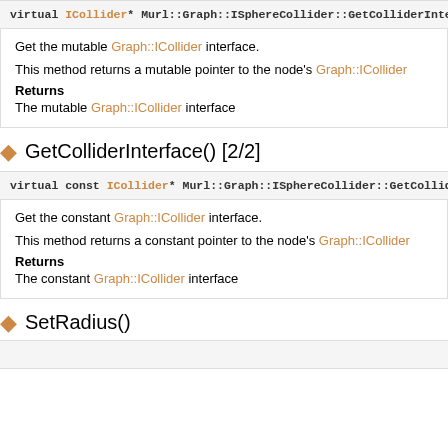virtual ICollider* Murl::Graph::ISphereCollider::GetColliderInterfa…
Get the mutable Graph::ICollider interface.
This method returns a mutable pointer to the node's Graph::ICollider
Returns
The mutable Graph::ICollider interface
◆ GetColliderInterface() [2/2]
virtual const ICollider* Murl::Graph::ISphereCollider::GetColliderI…
Get the constant Graph::ICollider interface.
This method returns a constant pointer to the node's Graph::ICollider
Returns
The constant Graph::ICollider interface
◆ SetRadius()